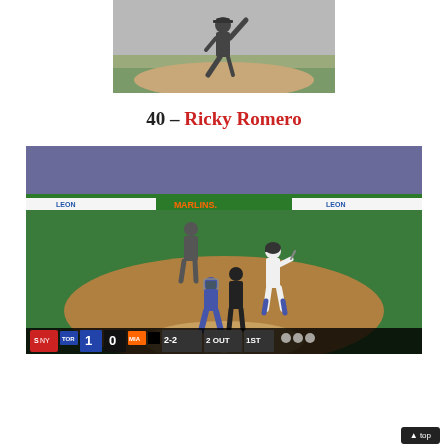[Figure (photo): Baseball pitcher mid-throw at a baseball game, seen from the side, green field background]
40 – Ricky Romero
[Figure (photo): Baseball game at Marlins Park showing batter, catcher, pitcher and umpire at home plate. Scoreboard shows TOR 1, MIA 0, count 2-2, 2 out, 1st inning. Leon Medical Center banner visible.]
▲ top